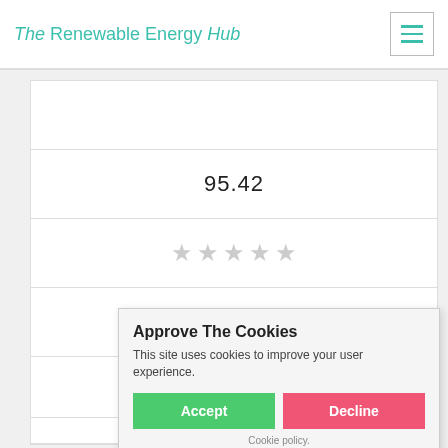The Renewable Energy Hub
|  |
| 95.42 |
| ★★★★★ |
| ☐ |
| Get a Quote |
Roberts-M
5322 Chiquito Rd, Nor...
Approve The Cookies
This site uses cookies to improve your user experience.
Accept  Decline
Cookie policy.